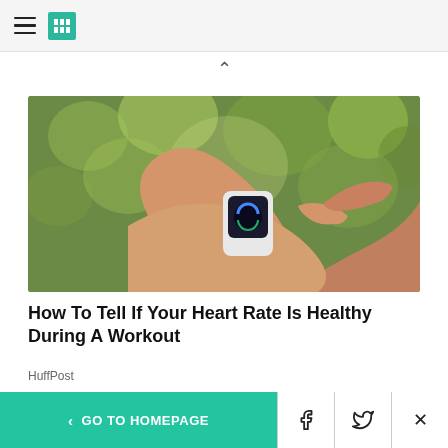HuffPost navigation menu and logo
[Figure (photo): Person tapping an Apple Watch on their wrist, outdoors with green bokeh background]
How To Tell If Your Heart Rate Is Healthy During A Workout
HuffPost
[Figure (photo): Partial view of products including a blue tumbler cup and other gear against a sunset background]
< GO TO HOMEPAGE | Facebook | Twitter | Close